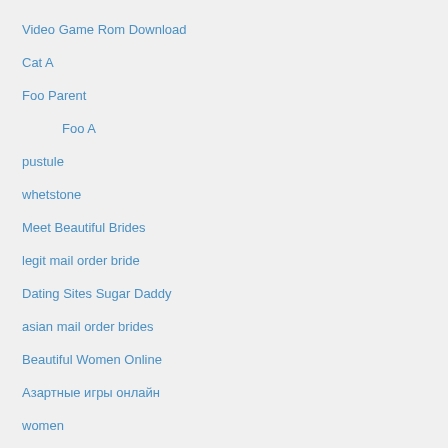Video Game Rom Download
Cat A
Foo Parent
Foo A
pustule
whetstone
Meet Beautiful Brides
legit mail order bride
Dating Sites Sugar Daddy
asian mail order brides
Beautiful Women Online
Азартные игры онлайн
women
costa rican brides